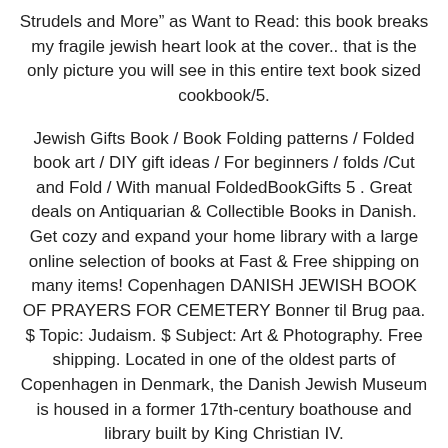Strudels and More" as Want to Read: this book breaks my fragile jewish heart look at the cover.. that is the only picture you will see in this entire text book sized cookbook/5.
Jewish Gifts Book / Book Folding patterns / Folded book art / DIY gift ideas / For beginners / folds /Cut and Fold / With manual FoldedBookGifts 5 . Great deals on Antiquarian & Collectible Books in Danish. Get cozy and expand your home library with a large online selection of books at Fast & Free shipping on many items! Copenhagen DANISH JEWISH BOOK OF PRAYERS FOR CEMETERY Bonner til Brug paa. $ Topic: Judaism. $ Subject: Art & Photography. Free shipping. Located in one of the oldest parts of Copenhagen in Denmark, the Danish Jewish Museum is housed in a former 17th-century boathouse and library built by King Christian IV.